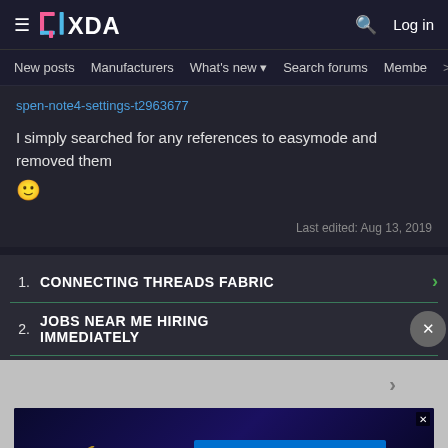XDA Forums — hamburger menu, logo, search, Log in
New posts  Manufacturers  What's new  Search forums  Membe >
spen-note4-settings-t2963677
I simply searched for any references to easymode and removed them 🙂
Last edited: Aug 13, 2019
1. CONNECTING THREADS FABRIC
2. JOBS NEAR ME HIRING IMMEDIATELY
[Figure (infographic): Disney Bundle advertisement banner with Hulu, Disney+, ESPN+ logos and GET THE DISNEY BUNDLE button. Fine print: Incl. Hulu (ad-supported) or Hulu (No Ads). Access content from each service separately. ©2021 Disney and its related entities.]